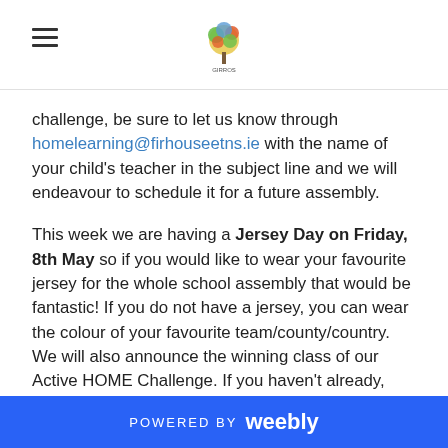[Hamburger menu icon] [School logo]
challenge, be sure to let us know through homelearning@firhouseetns.ie with the name of your child's teacher in the subject line and we will endeavour to schedule it for a future assembly.
This week we are having a Jersey Day on Friday, 8th May so if you would like to wear your favourite jersey for the whole school assembly that would be fantastic! If you do not have a jersey, you can wear the colour of your favourite team/county/country. We will also announce the winning class of our Active HOME Challenge. If you haven't already, please forward your Challenge Chart or active pictures onto your child's teacher as 2nd class competes to win an extra PE class from an outside coach! We hope to see as many people as possible join in with this and can't wait to see how 2nd Class have performed. Well done to everyone for taking part!
POWERED BY weebly